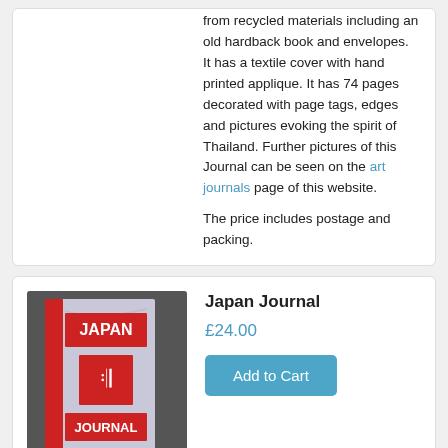from recycled materials including an old hardback book and envelopes.   It has a textile cover with hand printed applique. It has 74 pages decorated with page tags, edges and pictures evoking the spirit of Thailand. Further pictures of this Journal can be seen on the art journals page of this website.
The price includes postage and packing.
[Figure (photo): Photo of Japan Journal book with red spine and cover showing 'JAPAN JOURNAL' text with decorative red block]
Japan Journal
£24.00
Add to Cart